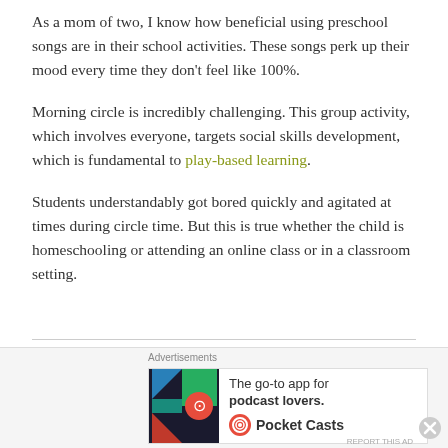As a mom of two, I know how beneficial using preschool songs are in their school activities. These songs perk up their mood every time they don't feel like 100%.
Morning circle is incredibly challenging. This group activity, which involves everyone, targets social skills development, which is fundamental to play-based learning.
Students understandably got bored quickly and agitated at times during circle time. But this is true whether the child is homeschooling or attending an online class or in a classroom setting.
Advertisements — The go-to app for podcast lovers. Pocket Casts